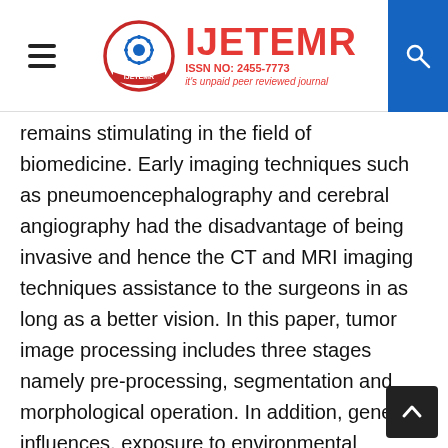IJETEMR ISSN NO: 2455-7773 it's unpaid peer reviewed journal
remains stimulating in the field of biomedicine. Early imaging techniques such as pneumoencephalography and cerebral angiography had the disadvantage of being invasive and hence the CT and MRI imaging techniques assistance to the surgeons in as long as a better vision. In this paper, tumor image processing includes three stages namely pre-processing, segmentation and morphological operation. In addition, genetic influences, exposure to environmental pollutants, second hand smoking inflate disease swiftly. Remedies including chemotherapy, radiotherapy, surgery, epidermal receptive drugs escalate survival rate and superiority of life. After the acquisition of the source image, it is pre-processed by changing the original image to gray scale in addition